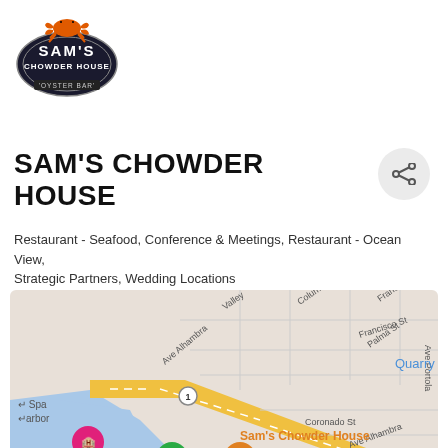[Figure (logo): Sam's Chowder House Oyster Bar logo — dark oval with orange crab on top, white text]
SAM'S CHOWDER HOUSE
Restaurant - Seafood, Conference & Meetings, Restaurant - Ocean View, Strategic Partners, Wedding Locations
[Figure (map): Google Maps screenshot showing Sam's Chowder House location in El Granada / Half Moon Bay area, with orange route highway 1, water/harbor to the left, and map pins including Sam's Chowder House (orange), Beach House (pink), Surfers Beach (green)]
4210 N. Cabrillo Hwy, Half Moon Bay, CA 94019